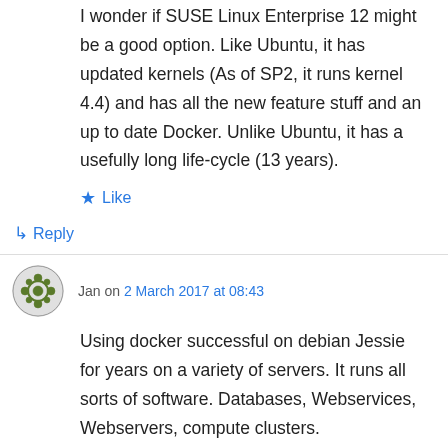I wonder if SUSE Linux Enterprise 12 might be a good option. Like Ubuntu, it has updated kernels (As of SP2, it runs kernel 4.4) and has all the new feature stuff and an up to date Docker. Unlike Ubuntu, it has a usefully long life-cycle (13 years).
★ Like
↳ Reply
Jan on 2 March 2017 at 08:43
Using docker successful on debian Jessie for years on a variety of servers. It runs all sorts of software. Databases, Webservices, Webservers, compute clusters.